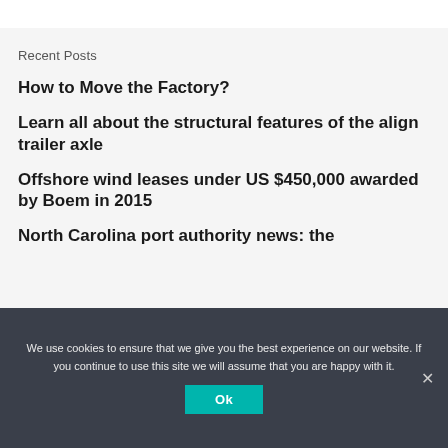Recent Posts
How to Move the Factory?
Learn all about the structural features of the align trailer axle
Offshore wind leases under US $450,000 awarded by Boem in 2015
North Carolina port authority news: the
We use cookies to ensure that we give you the best experience on our website. If you continue to use this site we will assume that you are happy with it.
Ok